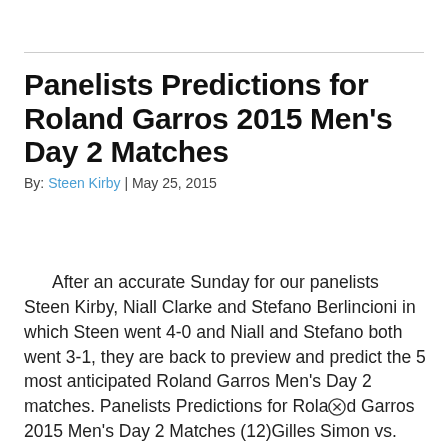Panelists Predictions for Roland Garros 2015 Men's Day 2 Matches
By: Steen Kirby | May 25, 2015
After an accurate Sunday for our panelists Steen Kirby, Niall Clarke and Stefano Berlincioni in which Steen went 4-0 and Niall and Stefano both went 3-1, they are back to preview and predict the 5 most anticipated Roland Garros Men's Day 2 matches. Panelists Predictions for Roland Garros 2015 Men's Day 2 Matches (12)Gilles Simon vs. […] READ MORE